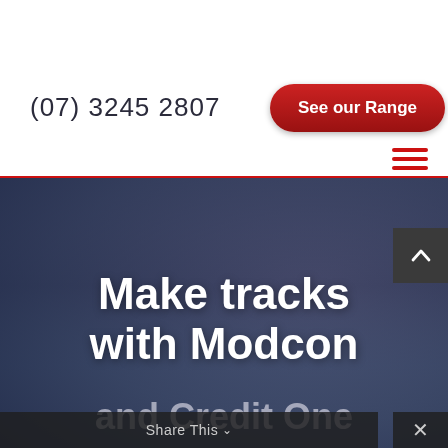(07) 3245 2807
See our Range
[Figure (screenshot): Hamburger menu icon with three red horizontal lines in the top right of the header]
[Figure (photo): Blurred blue-toned background photo with a person's hands, serving as a hero banner background]
Make tracks with Modcon
and Credit One
Share This